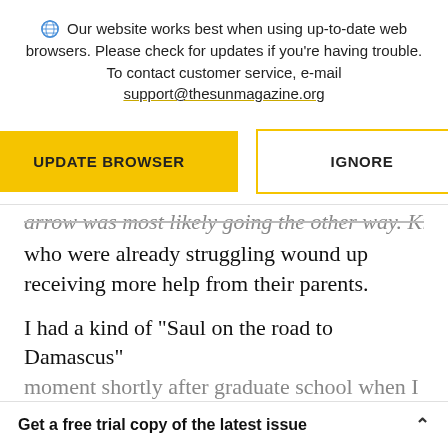Our website works best when using up-to-date web browsers. Please check for updates if you're having trouble. To contact customer service, e-mail support@thesunmagazine.org
UPDATE BROWSER | IGNORE
arrow was most likely going the other way. Kids who were already struggling wound up receiving more help from their parents.
I had a kind of “Saul on the road to Damascus” moment shortly after graduate school when I
Get a free trial copy of the latest issue